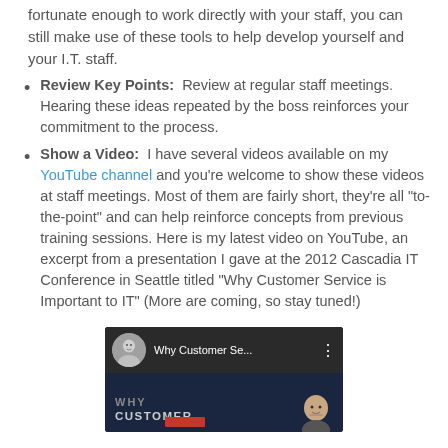fortunate enough to work directly with your staff, you can still make use of these tools to help develop yourself and your I.T. staff.
Review Key Points: Review at regular staff meetings. Hearing these ideas repeated by the boss reinforces your commitment to the process.
Show a Video: I have several videos available on my YouTube channel and you're welcome to show these videos at staff meetings. Most of them are fairly short, they're all "to-the-point" and can help reinforce concepts from previous training sessions. Here is my latest video on YouTube, an excerpt from a presentation I gave at the 2012 Cascadia IT Conference in Seattle titled "Why Customer Service is Important to IT" (More are coming, so stay tuned!)
[Figure (screenshot): YouTube video thumbnail showing 'Why Customer Se...' with a circular avatar of a man in glasses, dark background with 'WHY CUSTOMER' text and a face on the right side]